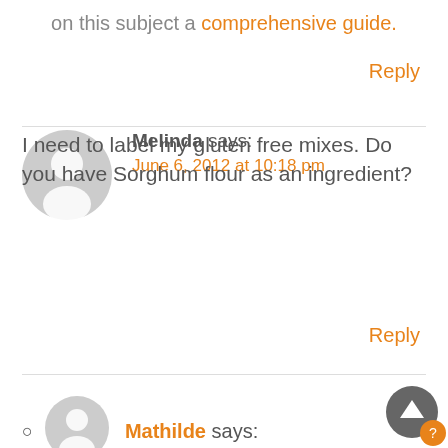on this subject a comprehensive guide.
Reply
Melinda says:
June 6, 2012 at 10:18 pm
I need to label my gluten free mixes. Do you have Sorghum flour as an ingredient?
Reply
Mathilde says: